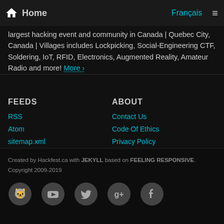Home | Français | ≡
largest hacking event and community in Canada | Quebec City, Canada | Villages includes Lockpicking, Social-Engineering CTF, Soldering, IoT, RFID, Electronics, Augmented Reality, Amateur Radio and more! More ›
FEEDS
RSS
Atom
sitemap.xml
ABOUT
Contact Us
Code Of Ethics
Privacy Policy
Code of Conduct
Created by Hackfest.ca with JEKYLL based on FEELING RESPONSIVE. Copyright 2009-2019